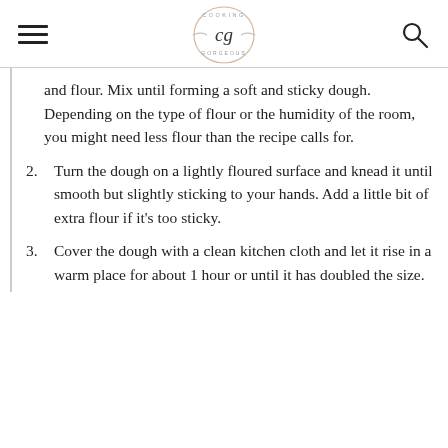Cooking Gorgeous — cg logo with hamburger menu and search icon
and flour. Mix until forming a soft and sticky dough. Depending on the type of flour or the humidity of the room, you might need less flour than the recipe calls for.
2. Turn the dough on a lightly floured surface and knead it until smooth but slightly sticking to your hands. Add a little bit of extra flour if it's too sticky.
3. Cover the dough with a clean kitchen cloth and let it rise in a warm place for about 1 hour or until it has doubled the size.